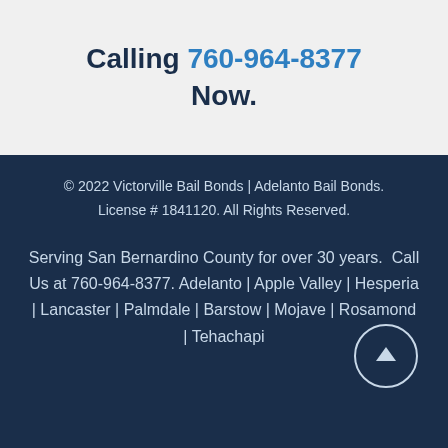Calling 760-964-8377 Now.
© 2022 Victorville Bail Bonds | Adelanto Bail Bonds. License # 1841120. All Rights Reserved.
Serving San Bernardino County for over 30 years.  Call Us at 760-964-8377. Adelanto | Apple Valley | Hesperia | Lancaster | Palmdale | Barstow | Mojave | Rosamond | Tehachapi